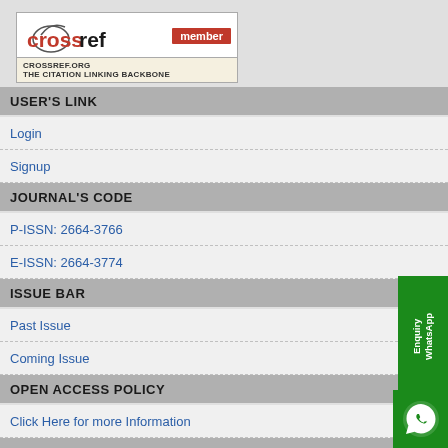[Figure (logo): CrossRef member logo with red 'cross' text, 'ref' in black, 'member' badge in red, and 'CROSSREF.ORG THE CITATION LINKING BACKBONE' text at bottom]
USER'S LINK
Login
Signup
JOURNAL'S CODE
P-ISSN: 2664-3766
E-ISSN: 2664-3774
ISSUE BAR
Past Issue
Coming Issue
OPEN ACCESS POLICY
Click Here for more Information
PUBLICATION POLICY
Click Here for more Information